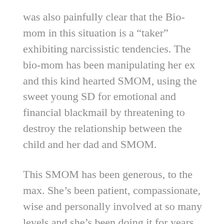was also painfully clear that the Bio-mom in this situation is a “taker” exhibiting narcissistic tendencies. The bio-mom has been manipulating her ex and this kind hearted SMOM, using the sweet young SD for emotional and financial blackmail by threatening to destroy the relationship between the child and her dad and SMOM.
This SMOM has been generous, to the max. She’s been patient, compassionate, wise and personally involved at so many levels and she’s been doing it for years. Does any of this sound familiar to you all?